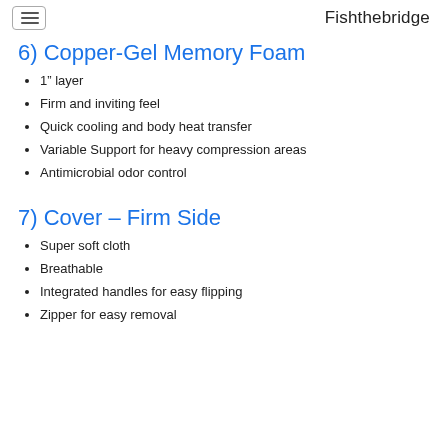Fishthebridge
6) Copper-Gel Memory Foam
1” layer
Firm and inviting feel
Quick cooling and body heat transfer
Variable Support for heavy compression areas
Antimicrobial odor control
7) Cover – Firm Side
Super soft cloth
Breathable
Integrated handles for easy flipping
Zipper for easy removal